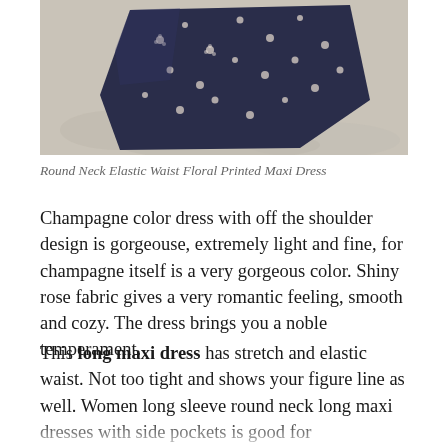[Figure (photo): A dark navy/blue floral printed fabric item (appears to be a bag or folded garment with white floral pattern) resting on a light beige/sandy surface.]
Round Neck Elastic Waist Floral Printed Maxi Dress
Champagne color dress with off the shoulder design is gorgeouse, extremely light and fine, for champagne itself is a very gorgeous color. Shiny rose fabric gives a very romantic feeling, smooth and cozy. The dress brings you a noble temperament.
This long maxi dress has stretch and elastic waist. Not too tight and shows your figure line as well. Women long sleeve round neck long maxi dresses with side pockets is good for